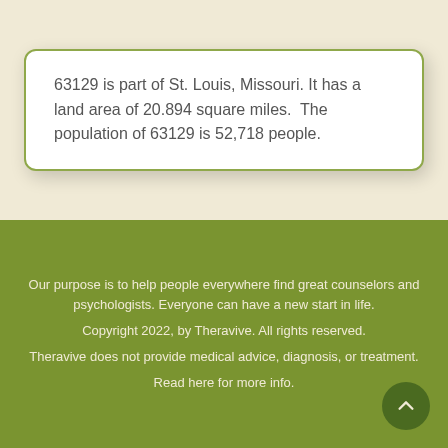63129 is part of St. Louis, Missouri. It has a land area of 20.894 square miles.  The population of 63129 is 52,718 people.
Our purpose is to help people everywhere find great counselors and psychologists. Everyone can have a new start in life.
Copyright 2022, by Theravive. All rights reserved.
Theravive does not provide medical advice, diagnosis, or treatment.
Read here for more info.